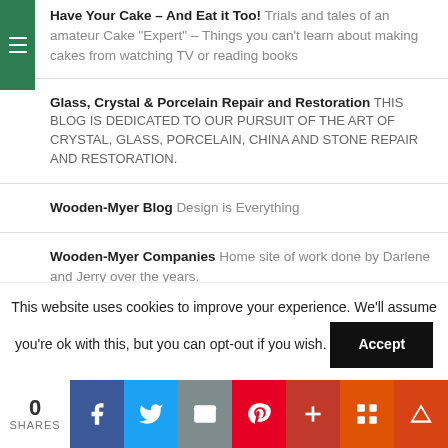Have Your Cake – And Eat it Too! Trials and tales of an amateur Cake "Expert" – Things you can't learn about making cakes from watching TV or reading books
Glass, Crystal & Porcelain Repair and Restoration THIS BLOG IS DEDICATED TO OUR PURSUIT OF THE ART OF CRYSTAL, GLASS, PORCELAIN, CHINA AND STONE REPAIR AND RESTORATION.
Wooden-Myer Blog Design is Everything
Wooden-Myer Companies Home site of work done by Darlene and Jerry over the years.
This website uses cookies to improve your experience. We'll assume you're ok with this, but you can opt-out if you wish. Accept
0 SHARES | Facebook | Twitter | Email | Pinterest | Google+ | Flipboard | Mix